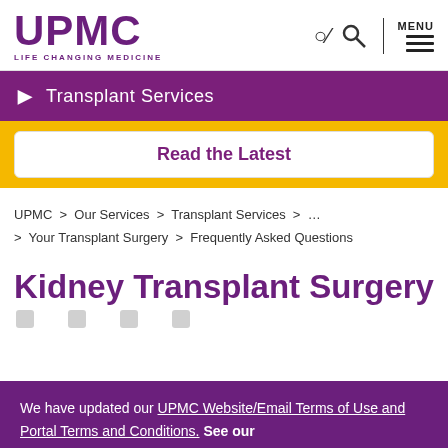UPMC LIFE CHANGING MEDICINE | MENU
Transplant Services
Read the Latest
UPMC > Our Services > Transplant Services > ... > Your Transplant Surgery > Frequently Asked Questions
Kidney Transplant Surgery
We have updated our UPMC Website/Email Terms of Use and Portal Terms and Conditions. See our